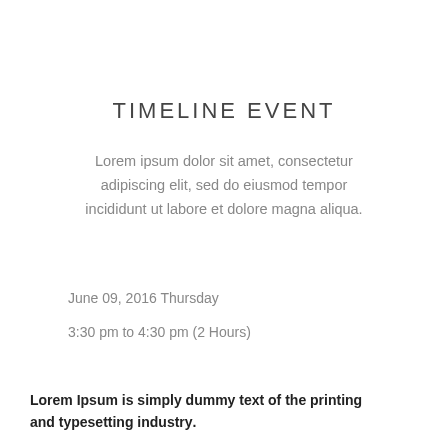TIMELINE EVENT
Lorem ipsum dolor sit amet, consectetur adipiscing elit, sed do eiusmod tempor incididunt ut labore et dolore magna aliqua.
June 09, 2016 Thursday
3:30 pm to 4:30 pm (2 Hours)
Lorem Ipsum is simply dummy text of the printing and typesetting industry.